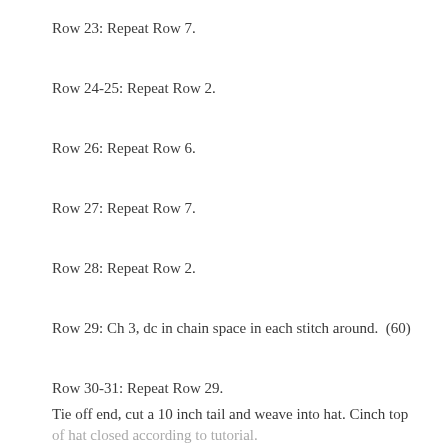Row 23: Repeat Row 7.
Row 24–25: Repeat Row 2.
Row 26: Repeat Row 6.
Row 27: Repeat Row 7.
Row 28: Repeat Row 2.
Row 29: Ch 3, dc in chain space in each stitch around. (60)
Row 30–31: Repeat Row 29.
Tie off end, cut a 10 inch tail and weave into hat. Cinch top of hat closed according to tutorial.